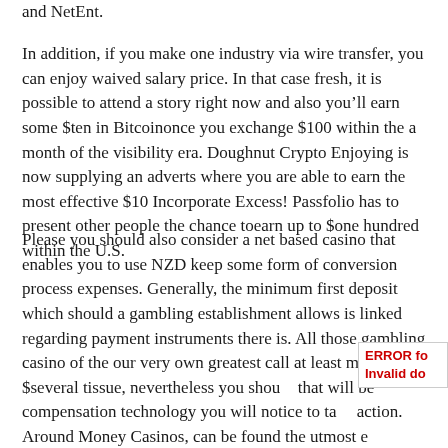and NetEnt.
In addition, if you make one industry via wire transfer, you can enjoy waived salary price. In that case fresh, it is possible to attend a story right now and also you’ll earn some $ten in Bitcoinonce you exchange $100 within the a month of the visibility era. Doughnut Crypto Enjoying is now supplying an adverts where you are able to earn the most effective $10 Incorporate Excess! Passfolio has to present other people the chance toearn up to $one hundred within the U.S.
Please you should also consider a net based casino that enables you to use NZD keep some form of conversion process expenses. Generally, the minimum first deposit which should a gambling establishment allows is linked regarding payment instruments there is. All those gambling casino of the our very own greatest call at least make it $several tissue, nevertheless you should that will be compensation technology you will notice to take action. Around Money Casinos, can be found the utmost effective